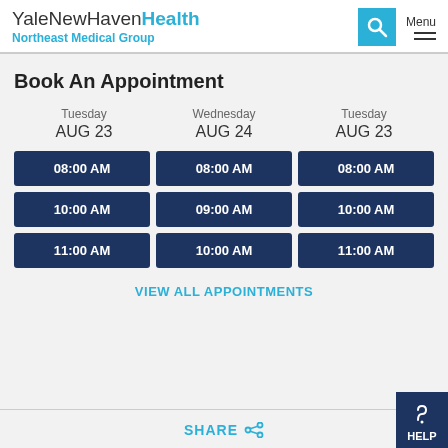YaleNewHavenHealth Northeast Medical Group
Book An Appointment
| Tuesday AUG 23 | Wednesday AUG 24 | Tuesday AUG 23 |
| --- | --- | --- |
| 08:00 AM | 08:00 AM | 08:00 AM |
| 10:00 AM | 09:00 AM | 10:00 AM |
| 11:00 AM | 10:00 AM | 11:00 AM |
VIEW ALL APPOINTMENTS
SHARE
HELP